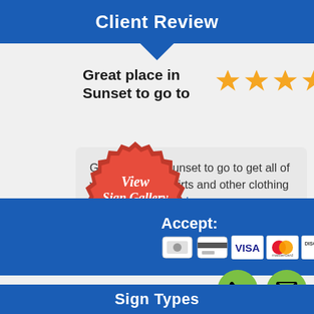Client Review
Great place in Sunset to go to
Great place in Sunset to go to get all of your custom T-shirts and other clothing items made!... read more
- Karl Barry
[Figure (illustration): View Sign Gallery CLICK HERE badge - red seal with gold banner]
Accept:
[Figure (illustration): Payment icons: cash, card, VISA, Mastercard, Discover, American Express]
[Figure (illustration): Green phone button]
[Figure (illustration): Green email button]
Sign Types